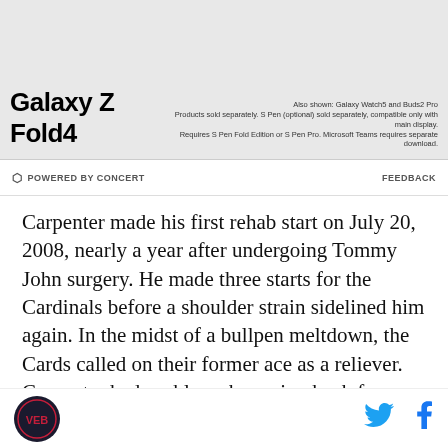[Figure (photo): Samsung Galaxy Z Fold4 advertisement banner showing the device along with Galaxy Watch5 and Buds2 Pro. Bold text reads 'Galaxy Z Fold4'. Small disclaimer text on the right.]
POWERED BY CONCERT    FEEDBACK
Carpenter made his first rehab start on July 20, 2008, nearly a year after undergoing Tommy John surgery. He made three starts for the Cardinals before a shoulder strain sidelined him again. In the midst of a bullpen meltdown, the Cards called on their former ace as a reliever. Carpenter had problems bouncing back from that outing and was shutdown for the year due to "nerve irritation in the shoulder," according to the 2009 Baseball Prospectus.
Site logo, Twitter icon, Facebook icon